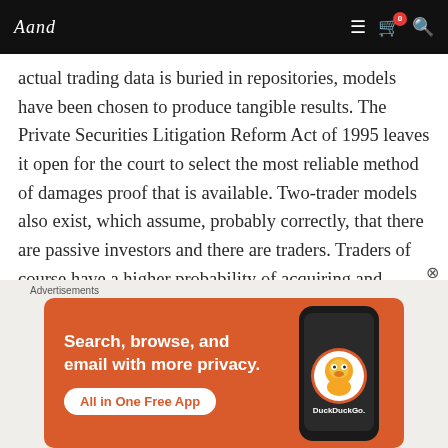Aand [logo] — navigation bar with menu, cart (0), search icons
actual trading data is buried in repositories, models have been chosen to produce tangible results. The Private Securities Litigation Reform Act of 1995 leaves it open for the court to select the most reliable method of damages proof that is available. Two-trader models also exist, which assume, probably correctly, that there are passive investors and there are traders. Traders of course have a higher probability of acquiring and selling shares, and thus this model utilizes parameters for damage estimates with the damages estimated using depository record
[Figure (advertisement): DuckDuckGo advertisement banner on orange background. Text: 'Search, browse, and email with more privacy. All in One Free App'. Shows DuckDuckGo logo on a phone mockup.]